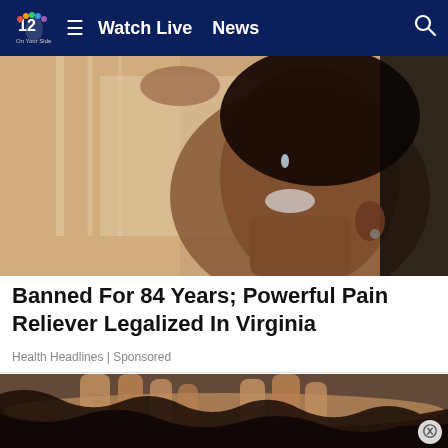NBC12 | Watch Live | News
[Figure (photo): Woman tilting her head back and putting drops or a substance into her open mouth, close-up shot with warm lighting]
Banned For 84 Years; Powerful Pain Reliever Legalized In Virginia
Health Headlines | Sponsored
[Figure (photo): Close-up of hands parting dark hair on a person's head, examining the scalp]